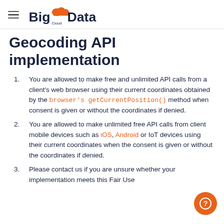BigData Cloud
Geocoding API implementation
You are allowed to make free and unlimited API calls from a client's web browser using their current coordinates obtained by the browser's getCurrentPosition() method when consent is given or without the coordinates if denied.
You are allowed to make unlimited free API calls from client mobile devices such as iOS, Android or IoT devices using their current coordinates when the consent is given or without the coordinates if denied.
Please contact us if you are unsure whether your implementation meets this Fair Use